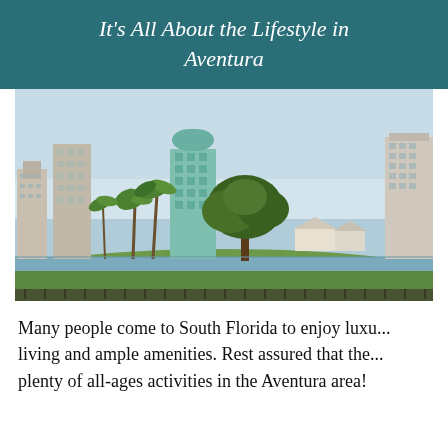It's All About the Lifestyle in Aventura
[Figure (photo): Cityscape of Aventura, Florida showing tall residential towers behind palm trees and a large oak tree, with a golf course green and waterway in the foreground under a light blue sky.]
Many people come to South Florida to enjoy luxu... living and ample amenities. Rest assured that the... plenty of all-ages activities in the Aventura area!